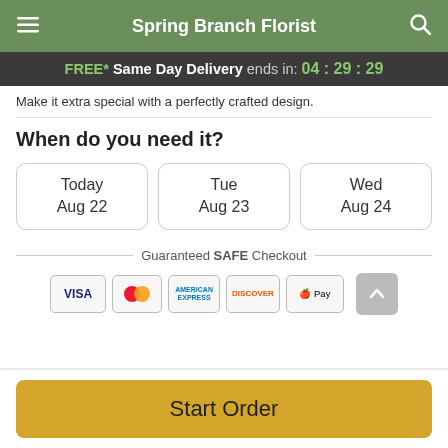Spring Branch Florist
FREE* Same Day Delivery ends in: 04:29:29
Make it extra special with a perfectly crafted design.
When do you need it?
Today
Aug 22
Tue
Aug 23
Wed
Aug 24
Guaranteed SAFE Checkout
[Figure (screenshot): Payment icons: VISA, Mastercard, American Express, Discover, Apple Pay]
Start Order